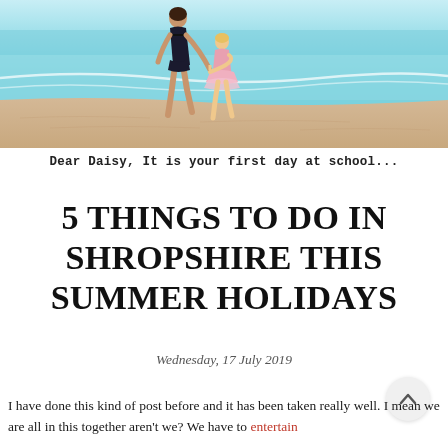[Figure (photo): A woman and a young child walking hand-in-hand on a sandy beach toward turquoise water, viewed from behind. The woman wears a black bikini; the child wears a pink frilly outfit.]
Dear Daisy, It is your first day at school...
5 THINGS TO DO IN SHROPSHIRE THIS SUMMER HOLIDAYS
Wednesday, 17 July 2019
I have done this kind of post before and it has been taken really well. I mean we are all in this together aren't we? We have to entertain